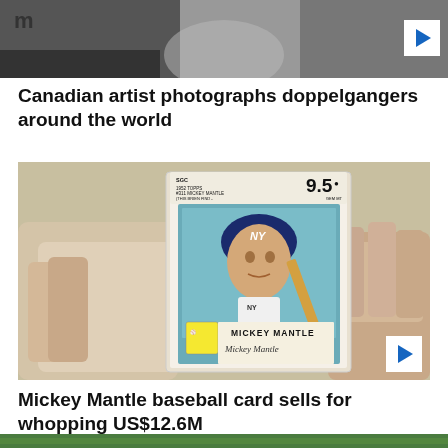[Figure (photo): Black and white close-up photo of a person's face (doppelgangers article), partially cropped at top of page]
Canadian artist photographs doppelgangers around the world
[Figure (photo): A hand holding a graded Mickey Mantle 1952 Topps baseball card rated 9.5 by SGC, described as 'This Brien Find - Finest Known Example']
Mickey Mantle baseball card sells for whopping US$12.6M
[Figure (photo): Partial bottom strip showing a green outdoor/nature scene, cropped at bottom of page]